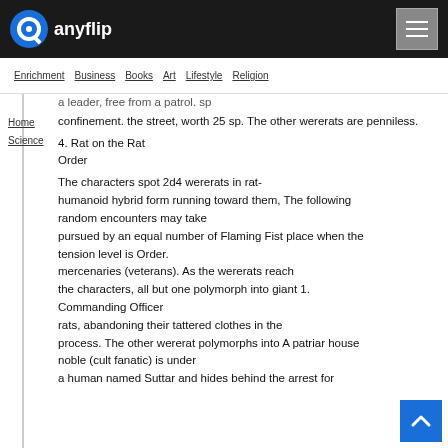anyflip
Enrichment | Business | Books | Art | Lifestyle | Religion
Home | Science
a leader, free from a patrol. sp confinement. the street, worth 25 sp. The other wererats are penniless.
4. Rat on the Rat Order
The characters spot 2d4 wererats in rat-humanoid hybrid form running toward them, The following random encounters may take pursued by an equal number of Flaming Fist place when the tension level is Order. mercenaries (veterans). As the wererats reach the characters, all but one polymorph into giant 1. Commanding Officer rats, abandoning their tattered clothes in the process. The other wererat polymorphs into A patriar house noble (cult fanatic) is under a human named Suttar and hides behind the arrest for